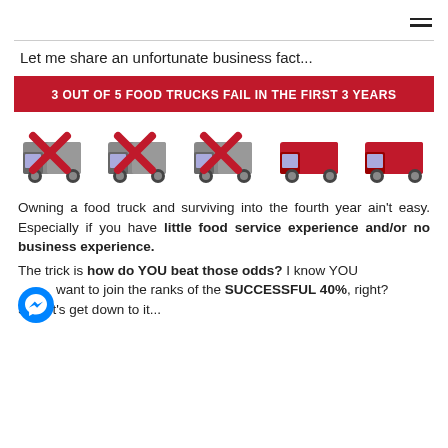≡
Let me share an unfortunate business fact...
[Figure (infographic): Red banner reading '3 OUT OF 5 FOOD TRUCKS FAIL IN THE FIRST 3 YEARS' followed by 5 food truck illustrations — the first 3 have large red X marks overlaid on grey trucks, the last 2 are red trucks without X marks.]
Owning a food truck and surviving into the fourth year ain't easy. Especially if you have little food service experience and/or no business experience. The trick is how do YOU beat those odds? I know YOU want to join the ranks of the SUCCESSFUL 40%, right? So, let's get down to it...